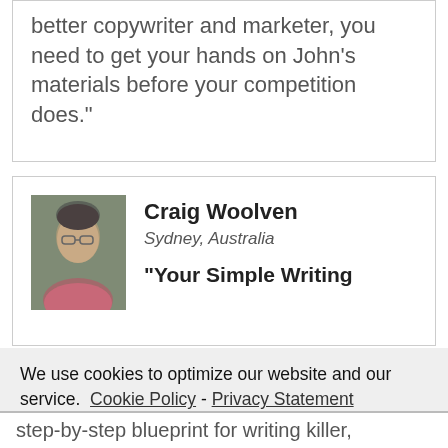better copywriter and marketer, you need to get your hands on John's materials before your competition does."
Craig Woolven
Sydney, Australia
"Your Simple Writing
We use cookies to optimize our website and our service.  Cookie Policy - Privacy Statement
Accept
step-by-step blueprint for writing killer,